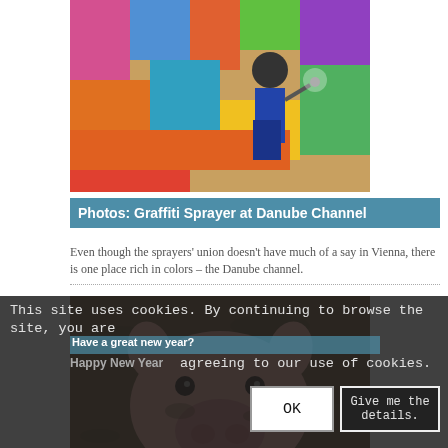[Figure (photo): Person spray painting graffiti on a colorful mural wall at the Danube Channel]
Photos: Graffiti Sprayer at Danube Channel
Even though the sprayers' union doesn't have much of a say in Vienna, there is one place rich in colors – the Danube channel.
[Figure (photo): Close-up of a pig's face in mud]
This site uses cookies. By continuing to browse the site, you are agreeing to our use of cookies.
Have a great new year?
Happy New Year
OK
Give me the details.